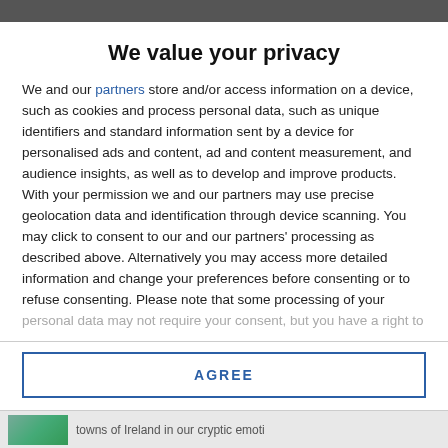We value your privacy
We and our partners store and/or access information on a device, such as cookies and process personal data, such as unique identifiers and standard information sent by a device for personalised ads and content, ad and content measurement, and audience insights, as well as to develop and improve products. With your permission we and our partners may use precise geolocation data and identification through device scanning. You may click to consent to our and our partners' processing as described above. Alternatively you may access more detailed information and change your preferences before consenting or to refuse consenting. Please note that some processing of your personal data may not require your consent, but you have a right to
AGREE
MORE OPTIONS
towns of Ireland in our cryptic emoti